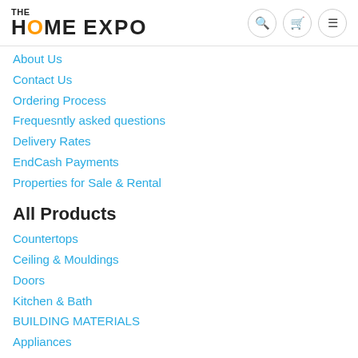[Figure (logo): The Home Expo logo with orange O and stylized H and E letters]
About Us
Contact Us
Ordering Process
Frequesntly asked questions
Delivery Rates
EndCash Payments
Properties for Sale & Rental
All Products
Countertops
Ceiling & Mouldings
Doors
Kitchen & Bath
BUILDING MATERIALS
Appliances
Tiles
Windows
Clothing, Shoes & Jewelry